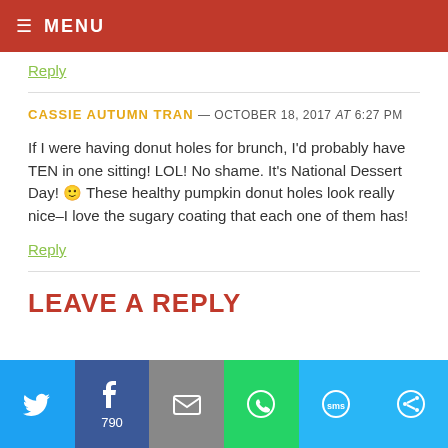MENU
Reply
CASSIE AUTUMN TRAN — OCTOBER 18, 2017 at 6:27 PM
If I were having donut holes for brunch, I'd probably have TEN in one sitting! LOL! No shame. It's National Dessert Day! 🙂 These healthy pumpkin donut holes look really nice–I love the sugary coating that each one of them has!
Reply
LEAVE A REPLY
[Figure (other): Social sharing buttons: Twitter, Facebook (790), Email, WhatsApp, SMS, Other]